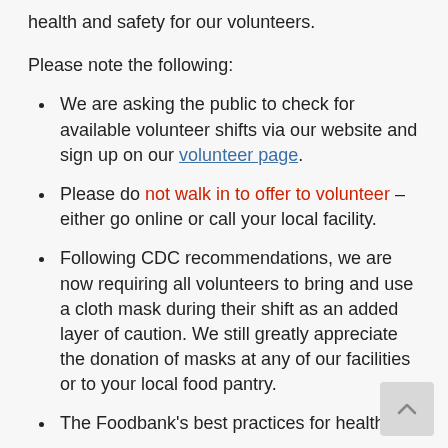health and safety for our volunteers.
Please note the following:
We are asking the public to check for available volunteer shifts via our website and sign up on our volunteer page.
Please do not walk in to offer to volunteer – either go online or call your local facility.
Following CDC recommendations, we are now requiring all volunteers to bring and use a cloth mask during their shift as an added layer of caution. We still greatly appreciate the donation of masks at any of our facilities or to your local food pantry.
The Foodbank's best practices for health